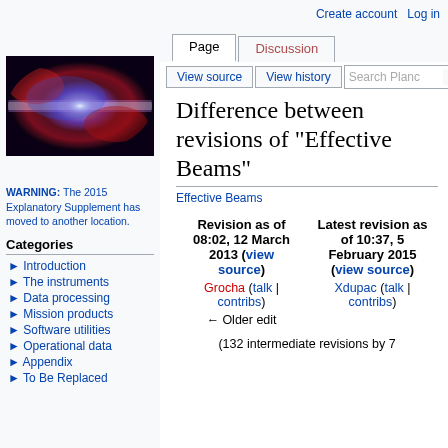Create account  Log in
[Figure (illustration): Elliptical galaxy/cosmic microwave background map in red-blue-purple colors on dark background, shown as an oval shape]
WARNING: The 2015 Explanatory Supplement has moved to another location.
Categories
► Introduction
► The instruments
► Data processing
► Mission products
► Software utilities
► Operational data
► Appendix
► To Be Replaced
Difference between revisions of "Effective Beams"
Effective Beams
| Revision as of 08:02, 12 March 2013 (view source) | Latest revision as of 10:37, 5 February 2015 (view source) |
| --- | --- |
| Grocha (talk | contribs)
← Older edit | Xdupac (talk | contribs) |
(132 intermediate revisions by 7